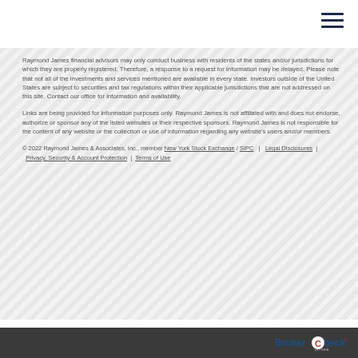[Figure (other): Hamburger menu icon — three horizontal dark navy lines in top-right corner]
Raymond James financial advisors may only conduct business with residents of the states and/or jurisdictions for which they are properly registered. Therefore, a response to a request for information may be delayed. Please note that not all of the investments and services mentioned are available in every state. Investors outside of the United States are subject to securities and tax regulations within their applicable jurisdictions that are not addressed on this site. Contact our office for information and availability.
Links are being provided for information purposes only. Raymond James is not affiliated with and does not endorse, authorize or sponsor any of the listed websites or their respective sponsors. Raymond James is not responsible for the content of any website or the collection or use of information regarding any website's users and/or members.
© 2022 Raymond James & Associates, Inc., member New York Stock Exchange / SIPC | Legal Disclosures | Privacy, Security & Account Protection | Terms of Use
[Figure (logo): BrokerCheck logo with FINRA attribution in bottom-right of dark footer bar]